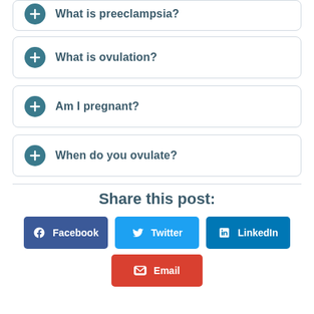What is preeclampsia?
What is ovulation?
Am I pregnant?
When do you ovulate?
Share this post:
Facebook
Twitter
LinkedIn
Email